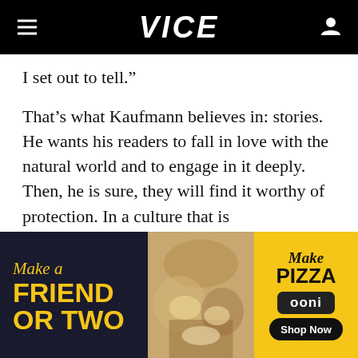VICE
I set out to tell.”
That’s what Kaufmann believes in: stories. He wants his readers to fall in love with the natural world and to engage in it deeply. Then, he is sure, they will find it worthy of protection. In a culture that is claustrophobic with apocalyptic predictions and viscous division, Kaufmann is an optimist.
[Figure (photo): Advertisement banner for Ooni pizza oven featuring text 'Make a Friend or Two' on dark background with yellow text, a center photo of people and dogs at a picnic with pizza, and right panel with 'Make Pizza', 'ooni' brand name, and 'Shop Now' button on yellow background.]